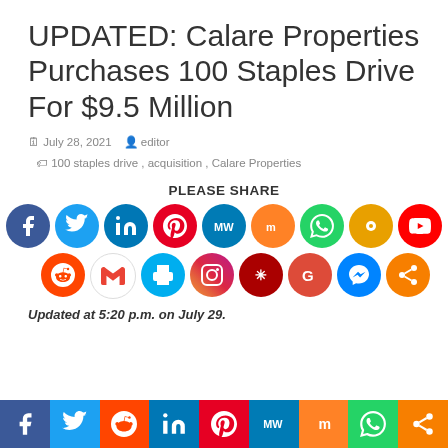UPDATED: Calare Properties Purchases 100 Staples Drive For $9.5 Million
July 28, 2021   editor   100 staples drive, acquisition, Calare Properties
[Figure (infographic): Social share buttons: PLEASE SHARE header with circular social media icons for Facebook, Twitter, LinkedIn, Pinterest, MeWe, Mix, WhatsApp, Flipboard, YouTube (row 1); Reddit, Gmail, Print, Instagram, Diaspora, Google, Messenger, Share (row 2)]
Updated at 5:20 p.m. on July 29.
[Figure (infographic): Bottom social share bar with Facebook, Twitter, Reddit, LinkedIn, Pinterest, MeWe, Mix, WhatsApp, Share icons]